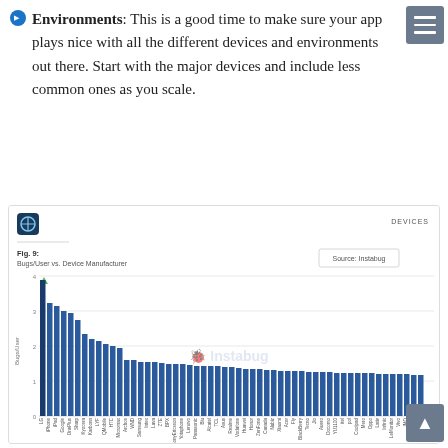Environments: This is a good time to make sure your app plays nice with all the different devices and environments out there. Start with the major devices and include less common ones as you scale.
[Figure (bar-chart): Bar chart showing Bugs/User vs Device Manufacturer. LG has the highest value near 4, followed by iPhone, iPad, Google, OnePlus, Sharp, Kyocera, Karbonn, LYF, QMobile, HTC, Micromax, Archos, WND, Samsung, Intex, Lava, ZTE, BPX, SonyEricsson, Yotaphone, Lenovo, Panasonic, Blu, Alcatel, TCL, Asus, Realme, Vodafone, Coolpad, Huawei, Honor, ZenFone, Canada, Nubiz, Xiaomi, Acer, HTC, Fly, BlackBerry, Tecno, Jio, Auero, Docomo, YU1100, itel, Asus, pol, Coolpad, Mero, Xiaomi, Oppo, Lativ, Infinix, LeMonitor, Vivo, IMO, Walton, Nokia and more declining towards 1.]